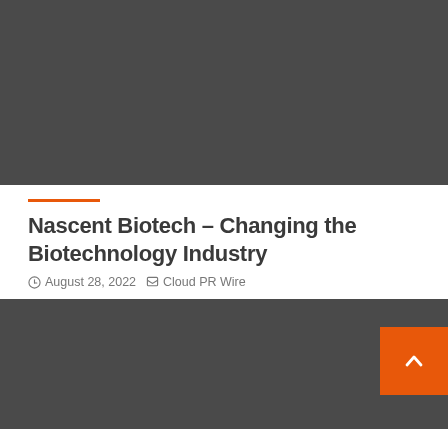[Figure (photo): Dark gray banner image at top of page, appears to be a header/hero image area with dark background]
Nascent Biotech – Changing the Biotechnology Industry
August 28, 2022   Cloud PR Wire
[Figure (photo): Dark gray banner image at bottom of page with orange scroll-to-top button in the bottom right corner]